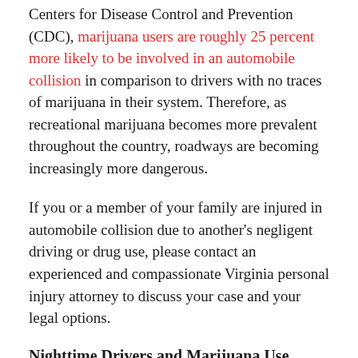Centers for Disease Control and Prevention (CDC), marijuana users are roughly 25 percent more likely to be involved in an automobile collision in comparison to drivers with no traces of marijuana in their system. Therefore, as recreational marijuana becomes more prevalent throughout the country, roadways are becoming increasingly more dangerous.
If you or a member of your family are injured in automobile collision due to another's negligent driving or drug use, please contact an experienced and compassionate Virginia personal injury attorney to discuss your case and your legal options.
Nighttime Drivers and Marijuana Use
A study conducted by the Centers for Disease